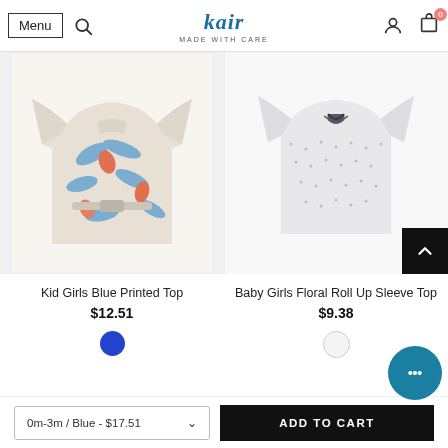Menu | Search | kair MADE WITH CARE | Account | Cart (0)
[Figure (photo): Kid Girls Blue Printed Top - tropical floral print blouse with blue/orange/cream colors]
[Figure (photo): Baby Girls Floral Roll Up Sleeve Top - light grey/white patterned top with dark tie neckline]
Kid Girls Blue Printed Top
$12.51
Baby Girls Floral Roll Up Sleeve Top
$9.38
0m-3m / Blue - $17.51
ADD TO CART